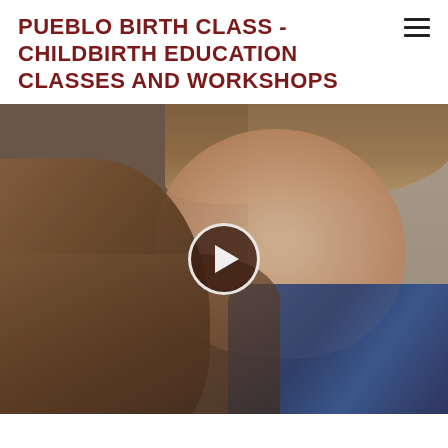PUEBLO BIRTH CLASS - CHILDBIRTH EDUCATION CLASSES AND WORKSHOPS
[Figure (photo): Video thumbnail showing a young woman with long brown hair looking at the camera, wearing a blue patterned top. A circular play button overlay is centered on the image indicating a video.]